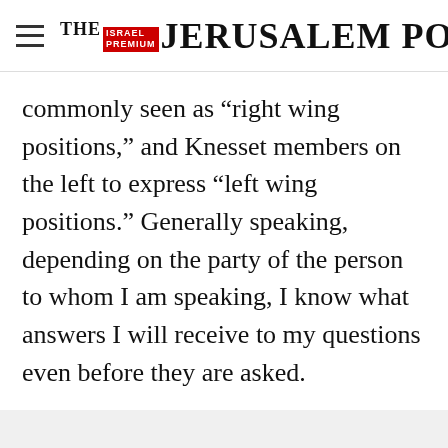THE JERUSALEM POST
commonly seen as “right wing positions,” and Knesset members on the left to express “left wing positions.” Generally speaking, depending on the party of the person to whom I am speaking, I know what answers I will receive to my questions even before they are asked.
Advertisement